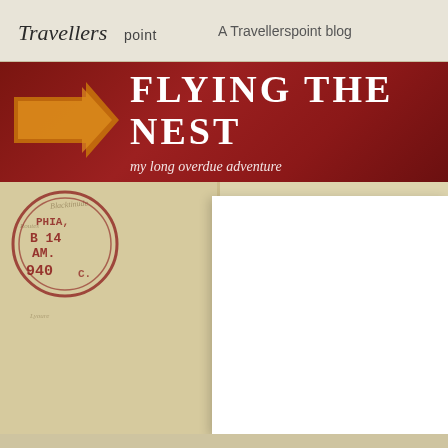Travellerspoint — A Travellerspoint blog
FLYING THE NEST
my long overdue adventure
[Figure (illustration): Blog header page showing a Travellerspoint travel blog named 'Flying the Nest' with subtitle 'my long overdue adventure'. Features a dark red banner with large arrow graphic, and below it a parchment/map textured background with a circular passport stamp reading 'B14 AM 940' on the left, and a white content area on the right.]